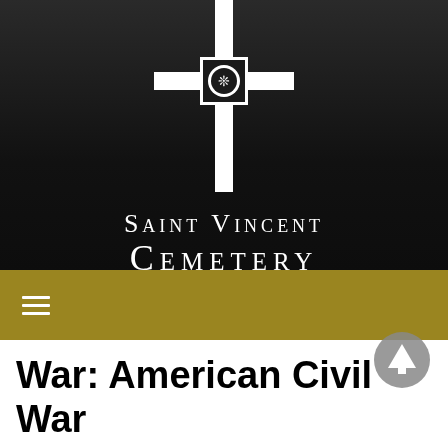[Figure (logo): Saint Vincent Cemetery logo: a white cross with a decorative square medallion at the center containing a floral/snowflake motif, on a dark gradient background]
Saint Vincent Cemetery
[Figure (infographic): Gold/olive navigation bar with a white hamburger menu icon (three horizontal lines) on the left side]
War: American Civil War